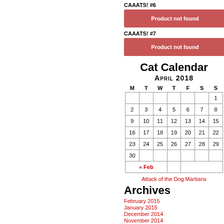CAAATS! #6
Product not found
CAAATS! #7
Product not found
Cat Calendar
April 2018
| M | T | W | T | F | S | S |
| --- | --- | --- | --- | --- | --- | --- |
|  |  |  |  |  |  | 1 |
| 2 | 3 | 4 | 5 | 6 | 7 | 8 |
| 9 | 10 | 11 | 12 | 13 | 14 | 15 |
| 16 | 17 | 18 | 19 | 20 | 21 | 22 |
| 23 | 24 | 25 | 26 | 27 | 28 | 29 |
| 30 |  |  |  |  |  |  |
| « Feb |  |  |  |  |  |  |
Attack of the Dog Martians
Archives
February 2015
January 2015
December 2014
November 2014
October 2014